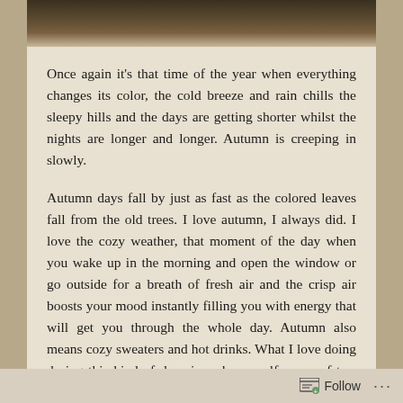[Figure (photo): Top portion of an autumn-themed photo with dark bokeh foliage]
Once again it's that time of the year when everything changes its color, the cold breeze and rain chills the sleepy hills and the days are getting shorter whilst the nights are longer and longer. Autumn is creeping in slowly.
Autumn days fall by just as fast as the colored leaves fall from the old trees. I love autumn, I always did. I love the cozy weather, that moment of the day when you wake up in the morning and open the window or go outside for a breath of fresh air and the crisp air boosts your mood instantly filling you with energy that will get you through the whole day. Autumn also means cozy sweaters and hot drinks. What I love doing during this kind of days is make myself a cup of tea, coffee or hot
Follow ...